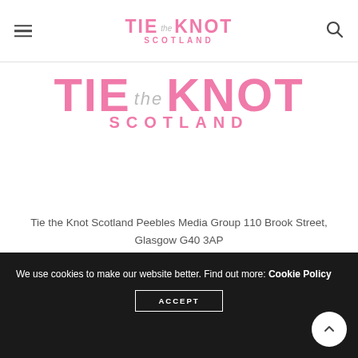TIE the KNOT SCOTLAND
[Figure (logo): Tie the Knot Scotland logo — large pink bold 'TIE KNOT' text with 'the' in italic grey and 'SCOTLAND' in pink spaced capitals]
Tie the Knot Scotland Peebles Media Group 110 Brook Street, Glasgow G40 3AP
[Figure (infographic): Three social media icons: Twitter bird, Facebook f, and Instagram camera, displayed horizontally]
We use cookies to make our website better. Find out more: Cookie Policy ACCEPT